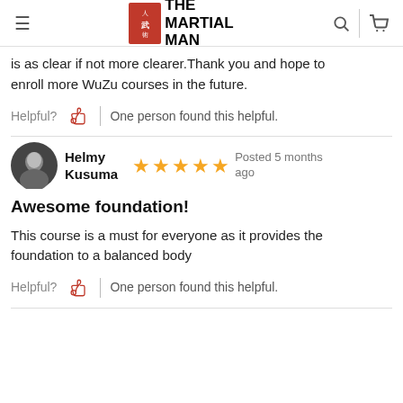THE MARTIAL MAN
is as clear if not more clearer.Thank you and hope to enroll more WuZu courses in the future.
Helpful?  One person found this helpful.
Helmy Kusuma  Posted 5 months ago
Awesome foundation!
This course is a must for everyone as it provides the foundation to a balanced body
Helpful?  One person found this helpful.